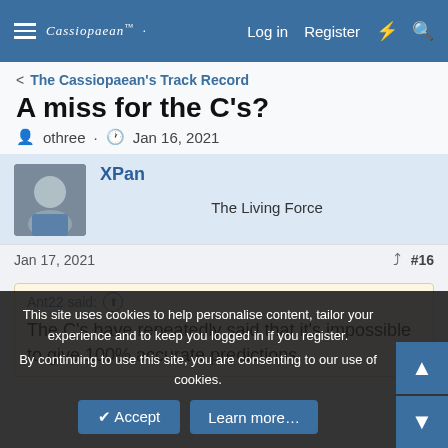Cassiopaean Forum — Log in  Register
< The Cassiopaean's Track Record
A miss for the C's?
othree · Jan 16, 2021
XPan
The Living Force
Jan 17, 2021  #16
Ant22 said:
The C's have repeatedly said that it's impossible to give 100% accurate predictions.
This site uses cookies to help personalise content, tailor your experience and to keep you logged in if you register.
By continuing to use this site, you are consenting to our use of cookies.
✔ Accept   Learn more…